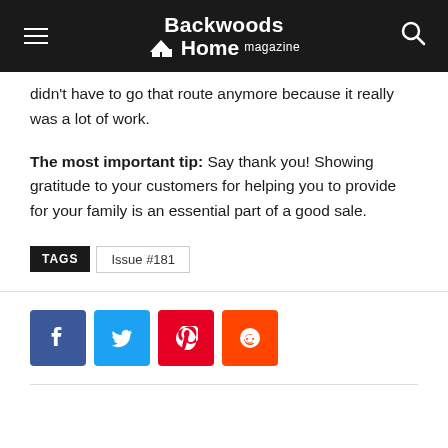Backwoods Home magazine
didn't have to go that route anymore because it really was a lot of work.
The most important tip: Say thank you! Showing gratitude to your customers for helping you to provide for your family is an essential part of a good sale.
TAGS  Issue #181
[Figure (other): Social share buttons: Facebook (blue), Twitter (light blue), Pinterest (red), Reddit (orange)]